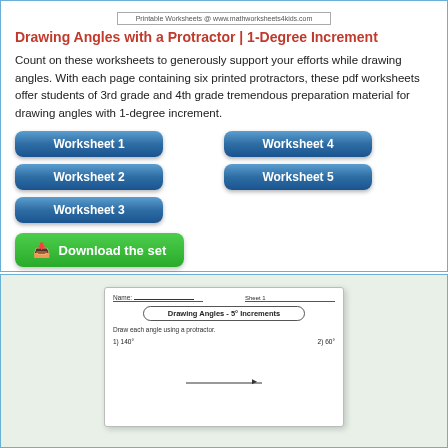Printable Worksheets @ www.mathworksheets4kids.com
Drawing Angles with a Protractor | 1-Degree Increment
Count on these worksheets to generously support your efforts while drawing angles. With each page containing six printed protractors, these pdf worksheets offer students of 3rd grade and 4th grade tremendous preparation material for drawing angles with 1-degree increment.
Worksheet 1
Worksheet 4
Worksheet 2
Worksheet 5
Worksheet 3
Download the set
[Figure (screenshot): Preview of a worksheet titled 'Drawing Angles - 5° Increments' showing instructions to draw each angle using a protractor, with problems 1) 140° and 2) 60°]